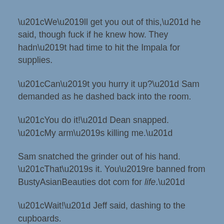“We’ll get you out of this,” he said, though fuck if he knew how. They hadn’t had time to hit the Impala for supplies.
“Can’t you hurry it up?” Sam demanded as he dashed back into the room.
“You do it!” Dean snapped. “My arm’s killing me.”
Sam snatched the grinder out of his hand. “That’s it. You’re banned from BustyAsianBeauties dot com for life.”
“Wait!” Jeff said, dashing to the cupboards.
“Dammit, Jeff -”